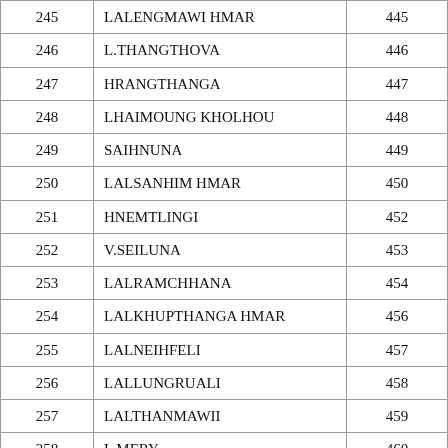| No. | Name | Page |
| --- | --- | --- |
| 245 | LALENGMAWI HMAR | 445 |
| 246 | L.THANGTHOVA | 446 |
| 247 | HRANGTHANGA | 447 |
| 248 | LHAIMOUNG KHOLHOU | 448 |
| 249 | SAIHNUNA | 449 |
| 250 | LALSANHIM HMAR | 450 |
| 251 | HNEMTLINGI | 452 |
| 252 | V.SEILUNA | 453 |
| 253 | LALRAMCHHANA | 454 |
| 254 | LALKHUPTHANGA HMAR | 456 |
| 255 | LALNEIHFELI | 457 |
| 256 | LALLUNGRUALI | 458 |
| 257 | LALTHANMAWII | 459 |
| 258 | L MERY | 460 |